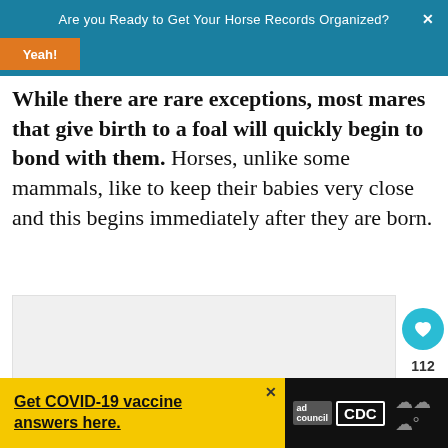Are you Ready to Get Your Horse Records Organized?
While there are rare exceptions, most mares that give birth to a foal will quickly begin to bond with them. Horses, unlike some mammals, like to keep their babies very close and this begins immediately after they are born.
[Figure (photo): Image placeholder / slideshow area with three navigation dots below]
Get COVID-19 vaccine answers here. [ad council] [CDC]